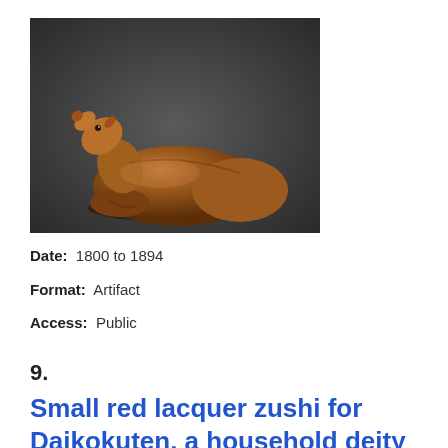[Figure (photo): A small brown lacquer figurine of a reclining animal (rat or boar) with its head raised, photographed against a dark gray gradient background.]
Date: 1800 to 1894
Format: Artifact
Access: Public
9.
Small red lacquer zushi for Daikokuten, a household deity and one of the Seven Lucky Gods